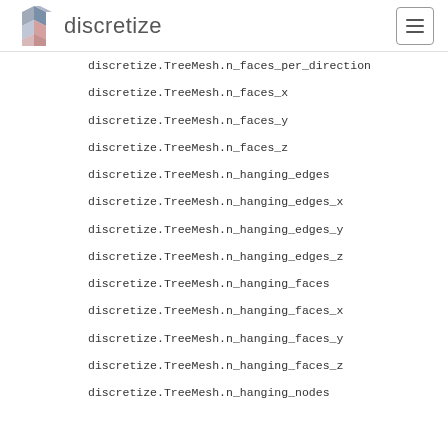discretize
discretize.TreeMesh.n_faces_per_direction
discretize.TreeMesh.n_faces_x
discretize.TreeMesh.n_faces_y
discretize.TreeMesh.n_faces_z
discretize.TreeMesh.n_hanging_edges
discretize.TreeMesh.n_hanging_edges_x
discretize.TreeMesh.n_hanging_edges_y
discretize.TreeMesh.n_hanging_edges_z
discretize.TreeMesh.n_hanging_faces
discretize.TreeMesh.n_hanging_faces_x
discretize.TreeMesh.n_hanging_faces_y
discretize.TreeMesh.n_hanging_faces_z
discretize.TreeMesh.n_hanging_nodes